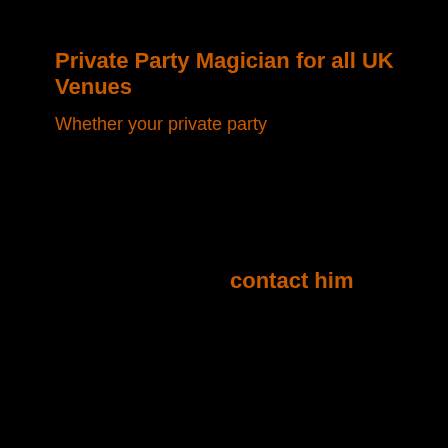Private Party Magician for all UK Venues
Whether your private party
contact him